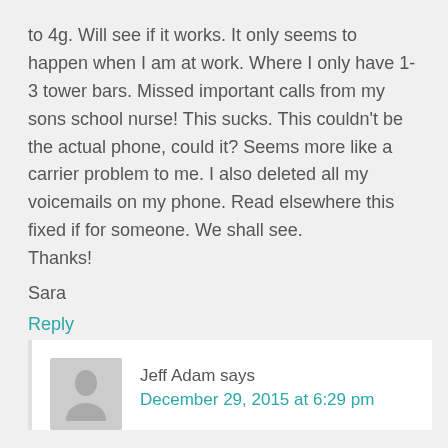to 4g. Will see if it works. It only seems to happen when I am at work. Where I only have 1-3 tower bars. Missed important calls from my sons school nurse! This sucks. This couldn't be the actual phone, could it? Seems more like a carrier problem to me. I also deleted all my voicemails on my phone. Read elsewhere this fixed if for someone. We shall see.
Thanks!
Sara
Reply
Jeff Adam says
December 29, 2015 at 6:29 pm